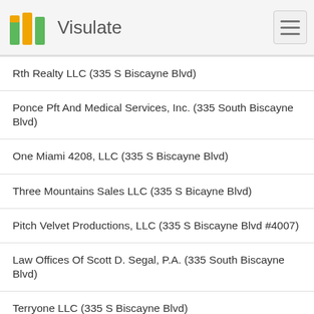Visulate
Rth Realty LLC (335 S Biscayne Blvd)
Ponce Pft And Medical Services, Inc. (335 South Biscayne Blvd)
One Miami 4208, LLC (335 S Biscayne Blvd)
Three Mountains Sales LLC (335 S Bicayne Blvd)
Pitch Velvet Productions, LLC (335 S Biscayne Blvd #4007)
Law Offices Of Scott D. Segal, P.A. (335 South Biscayne Blvd)
Terryone LLC (335 S Biscayne Blvd)
One Terry 4007, LLC (335 S Biscayne Blvd)
One Miami Unit 3900 Inc. (335 S Biscayne Blvd Unit 3900)
Neocapital Investors LLC. (335 S Biscayne Blvd)